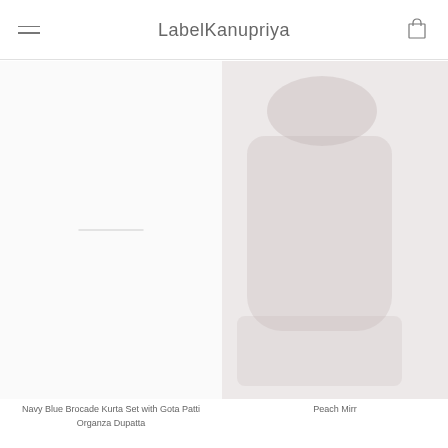LabelKanupriya
[Figure (photo): Product image area for Navy Blue Brocade Kurta Set with Gota Patti Organza Dupatta — mostly white/empty with a faint divider line]
Navy Blue Brocade Kurta Set with Gota Patti Organza Dupatta
[Figure (photo): Partially visible product image for Peach Mirror work item — pinkish-beige toned product photo cropped at right edge]
Peach Mirr...